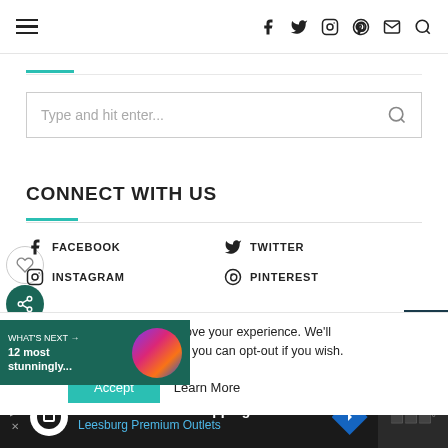Navigation bar with hamburger menu and social icons: Facebook, Twitter, Instagram, Pinterest, Email, Search
Type and hit enter...
CONNECT WITH US
FACEBOOK
TWITTER
INSTAGRAM
PINTEREST
uses cookies to improve your experience. We'll assume you're ok with this, but you can opt-out if you wish.
Accept
Learn More
WHAT'S NEXT → 12 most stunningly...
Back To School Shopping Deals — Leesburg Premium Outlets